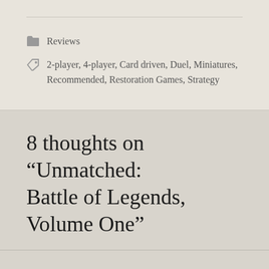Reviews
2-player, 4-player, Card driven, Duel, Miniatures, Recommended, Restoration Games, Strategy
8 thoughts on “Unmatched: Battle of Legends, Volume One”
Dave Stone  Mar 15, 2022 — 17:45